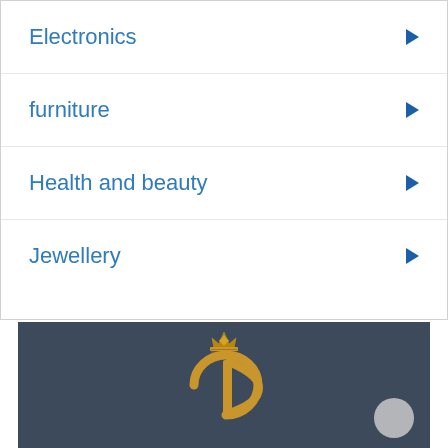Electronics
furniture
Health and beauty
Jewellery
[Figure (logo): Gold jewellery brand logo with crown and intertwined G/D letters on dark blue-grey background]